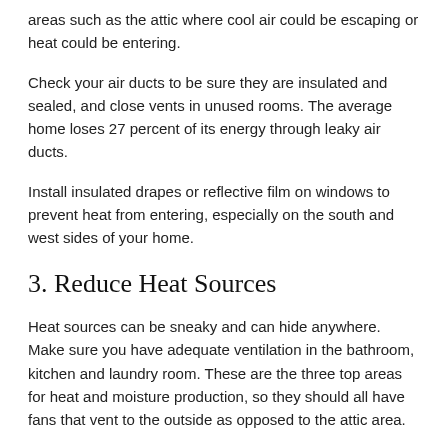areas such as the attic where cool air could be escaping or heat could be entering.
Check your air ducts to be sure they are insulated and sealed, and close vents in unused rooms. The average home loses 27 percent of its energy through leaky air ducts.
Install insulated drapes or reflective film on windows to prevent heat from entering, especially on the south and west sides of your home.
3. Reduce Heat Sources
Heat sources can be sneaky and can hide anywhere. Make sure you have adequate ventilation in the bathroom, kitchen and laundry room. These are the three top areas for heat and moisture production, so they should all have fans that vent to the outside as opposed to the attic area.
Turn off electronics and lights when you're not using them, and ditch the incandescent bulbs. Go for LED lights if you really want to cool things down.
Also, cut down on oven use. Instead, prepare your meals on the grill or in the microwave so there's less heat for the AC to battle.
4. Cool Yourself Instead of the Entire House